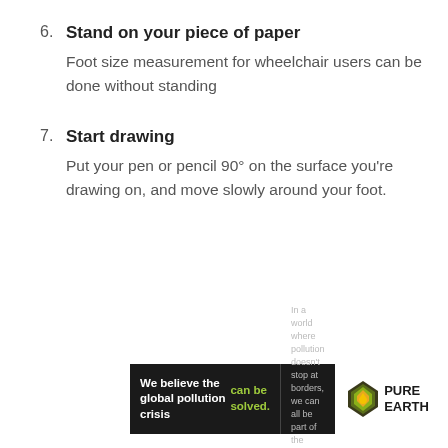6. Stand on your piece of paper
Foot size measurement for wheelchair users can be done without standing
7. Start drawing
Put your pen or pencil 90° on the surface you're drawing on, and move slowly around your foot.
[Figure (infographic): Pure Earth advertisement banner. Left dark section reads 'We believe the global pollution crisis can be solved.' Right dark section reads 'In a world where pollution doesn't stop at borders, we can all be part of the solution. JOIN US.' Right white section shows Pure Earth logo (diamond shape with drop icon) and text 'PURE EARTH'.]